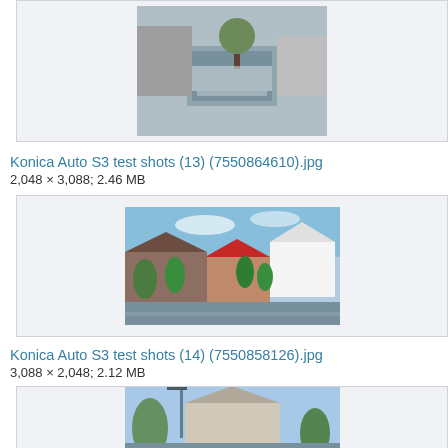[Figure (photo): Aerial/overhead view of a street or waterway with buildings, partially cropped at top of page]
Konica Auto S3 test shots (13) (7550864610).jpg
2,048 × 3,088; 2.46 MB
[Figure (photo): Street scene with houses, trees, and a road in a European village setting]
Konica Auto S3 test shots (14) (7550858126).jpg
3,088 × 2,048; 2.12 MB
[Figure (photo): Another street scene with buildings and trees, partially visible at bottom of page]